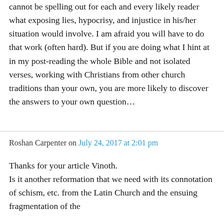cannot be spelling out for each and every likely reader what exposing lies, hypocrisy, and injustice in his/her situation would involve. I am afraid you will have to do that work (often hard). But if you are doing what I hint at in my post-reading the whole Bible and not isolated verses, working with Christians from other church traditions than your own, you are more likely to discover the answers to your own question…
Roshan Carpenter on July 24, 2017 at 2:01 pm
Thanks for your article Vinoth.
Is it another reformation that we need with its connotation of schism, etc. from the Latin Church and the ensuing fragmentation of the